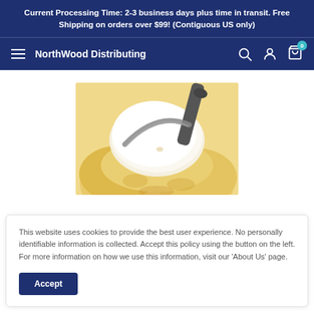Current Processing Time: 2-3 business days plus time in transit. Free Shipping on orders over $99! (Contiguous US only)
NorthWood Distributing
[Figure (photo): Close-up photo of a scoop of vanilla ice cream being scooped with a metal ice cream scoop, with pale yellow ice cream visible below.]
This website uses cookies to provide the best user experience. No personally identifiable information is collected. Accept this policy using the button on the left. For more information on how we use this information, visit our 'About Us' page.
Accept